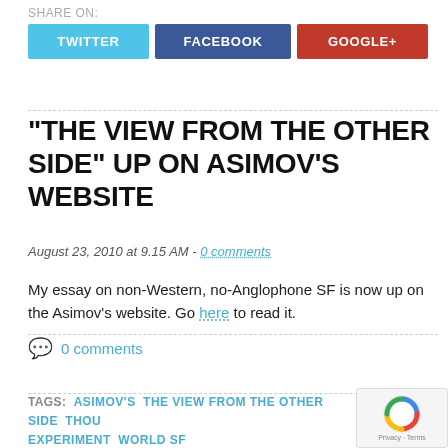SHARE ON:
[Figure (other): Social share buttons: TWITTER (blue), FACEBOOK (dark blue), GOOGLE+ (red)]
“THE VIEW FROM THE OTHER SIDE” UP ON ASIMOV’S WEBSITE
August 23, 2010 at 9.15 AM - 0 comments
My essay on non-Western, no-Anglophone SF is now up on the Asimov’s website. Go here to read it.
0 comments
TAGS: ASIMOV'S  THE VIEW FROM THE OTHER SIDE  THOU... EXPERIMENT  WORLD SF